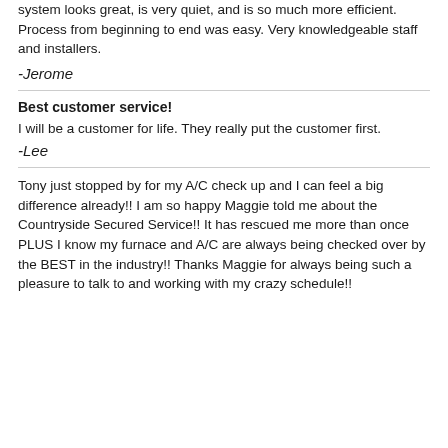system looks great, is very quiet, and is so much more efficient. Process from beginning to end was easy. Very knowledgeable staff and installers.
-Jerome
Best customer service!
I will be a customer for life. They really put the customer first.
-Lee
Tony just stopped by for my A/C check up and I can feel a big difference already!! I am so happy Maggie told me about the Countryside Secured Service!! It has rescued me more than once PLUS I know my furnace and A/C are always being checked over by the BEST in the industry!! Thanks Maggie for always being such a pleasure to talk to and working with my crazy schedule!!